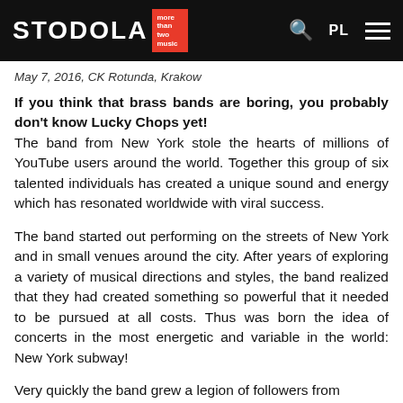STODOLA | more than two music | PL
May 7, 2016, CK Rotunda, Krakow
If you think that brass bands are boring, you probably don't know Lucky Chops yet! The band from New York stole the hearts of millions of YouTube users around the world. Together this group of six talented individuals has created a unique sound and energy which has resonated worldwide with viral success.
The band started out performing on the streets of New York and in small venues around the city. After years of exploring a variety of musical directions and styles, the band realized that they had created something so powerful that it needed to be pursued at all costs. Thus was born the idea of concerts in the most energetic and variable in the world: New York subway!
Very quickly the band grew a legion of followers from